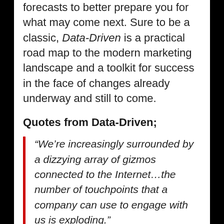forecasts to better prepare you for what may come next. Sure to be a classic, Data-Driven is a practical road map to the modern marketing landscape and a toolkit for success in the face of changes already underway and still to come.
Quotes from Data-Driven;
“We’re increasingly surrounded by a dizzying array of gizmos connected to the Internet…the number of touchpoints that a company can use to engage with us is exploding.”